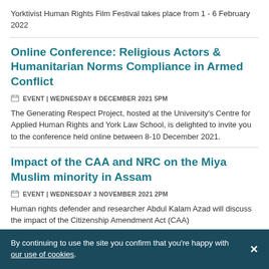Yorktivist Human Rights Film Festival takes place from 1 - 6 February 2022
Online Conference: Religious Actors & Humanitarian Norms Compliance in Armed Conflict
EVENT | WEDNESDAY 8 DECEMBER 2021 5PM
The Generating Respect Project, hosted at the University's Centre for Applied Human Rights and York Law School, is delighted to invite you to the conference held online between 8-10 December 2021.
Impact of the CAA and NRC on the Miya Muslim minority in Assam
EVENT | WEDNESDAY 3 NOVEMBER 2021 2PM
Human rights defender and researcher Abdul Kalam Azad will discuss the impact of the Citizenship Amendment Act (CAA)
By continuing to use the site you confirm that you're happy with our use of cookies.